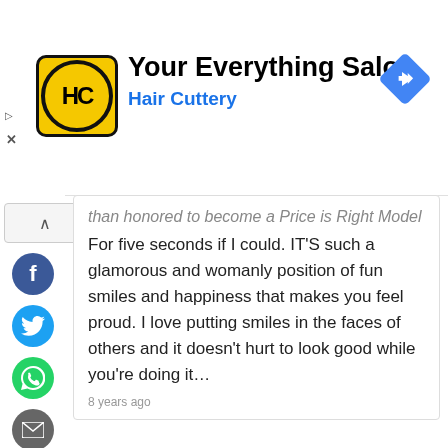[Figure (screenshot): Hair Cuttery 'Your Everything Salon' advertisement banner with yellow HC logo and blue navigation arrow icon]
than honored to become a Price is Right Model
For five seconds if I could. IT'S such a glamorous and womanly position of fun smiles and happiness that makes you feel proud. I love putting smiles in the faces of others and it doesn't hurt to look good while you're doing it…
8 years ago
ZACH HAMMILL
I have been watching this show